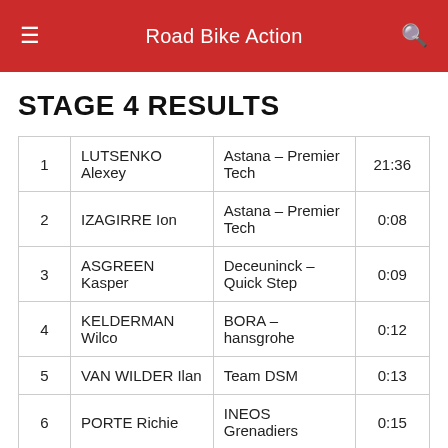Road Bike Action
STAGE 4 RESULTS
| # | Name | Team | Time |
| --- | --- | --- | --- |
| 1 | LUTSENKO Alexey | Astana – Premier Tech | 21:36 |
| 2 | IZAGIRRE Ion | Astana – Premier Tech | 0:08 |
| 3 | ASGREEN Kasper | Deceuninck – Quick Step | 0:09 |
| 4 | KELDERMAN Wilco | BORA – hansgrohe | 0:12 |
| 5 | VAN WILDER Ilan | Team DSM | 0:13 |
| 6 | PORTE Richie | INEOS Grenadiers | 0:15 |